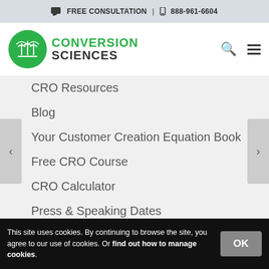FREE CONSULTATION | 888-961-6604
[Figure (logo): Conversion Sciences logo with green circle icon and text 'CONVERSION SCIENCES']
CRO Resources
Blog
Your Customer Creation Equation Book
Free CRO Course
CRO Calculator
Press & Speaking Dates
This site uses cookies. By continuing to browse the site, you agree to our use of cookies. Or find out how to manage cookies.